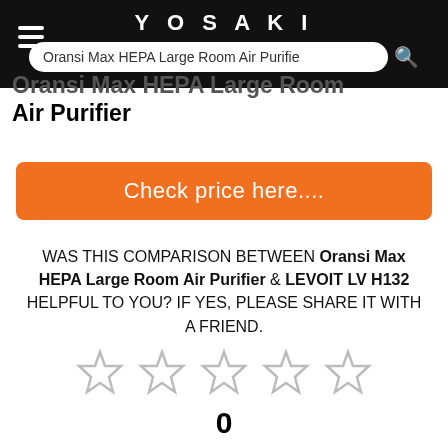YOSAKI
Oransi Max HEPA Large Room Air Purifier
Check price here....
WAS THIS COMPARISON BETWEEN Oransi Max HEPA Large Room Air Purifier & LEVOIT LV H132 HELPFUL TO YOU? IF YES, PLEASE SHARE IT WITH A FRIEND.
[Figure (other): Five empty star rating icons]
0